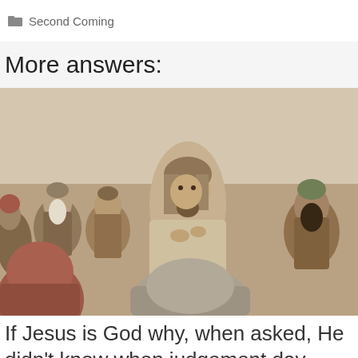Second Coming
More answers:
[Figure (photo): Photo of a man dressed as Jesus in robes and headscarf, sitting and speaking with a group of people in ancient Middle Eastern clothing, in a desert setting.]
If Jesus is God why, when asked, He didn't know when judgement day